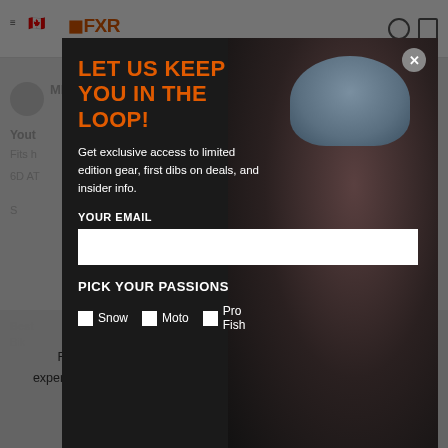[Figure (screenshot): FXR Racing website screenshot with newsletter signup modal overlay and cookie consent bar]
LET US KEEP YOU IN THE LOOP!
Get exclusive access to limited edition gear, first dibs on deals, and insider info.
YOUR EMAIL
PICK YOUR PASSIONS
Snow
Moto
Pro Fish
FXR Racing Inc. uses cookies to give you the best shopping experience possible. By using our site, you agree to us using cookies in accordance with our privacy policy.